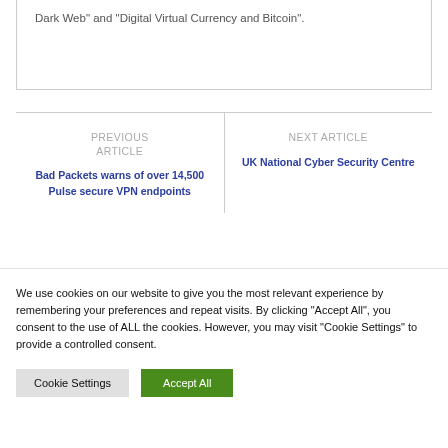Dark Web" and "Digital Virtual Currency and Bitcoin".
PREVIOUS ARTICLE
Bad Packets warns of over 14,500 Pulse secure VPN endpoints
NEXT ARTICLE
UK National Cyber Security Centre
We use cookies on our website to give you the most relevant experience by remembering your preferences and repeat visits. By clicking "Accept All", you consent to the use of ALL the cookies. However, you may visit "Cookie Settings" to provide a controlled consent.